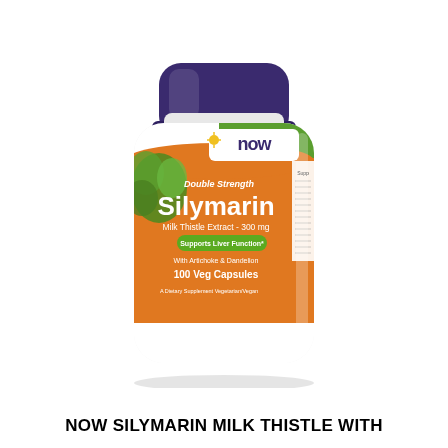[Figure (photo): NOW brand supplement bottle - Double Strength Silymarin Milk Thistle Extract 300mg, 100 Veg Capsules, Supports Liver Function, with Artichoke & Dandelion, Vegetarian/Vegan. White plastic bottle with dark purple cap, orange and green label with plant illustration.]
NOW SILYMARIN MILK THISTLE WITH